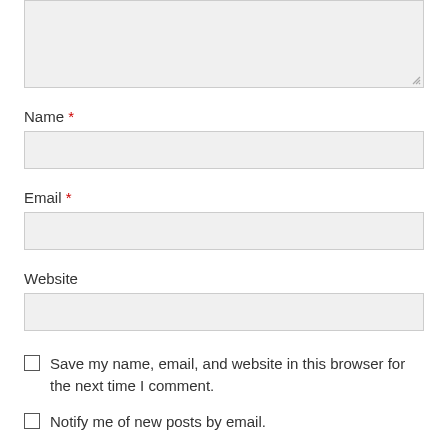[Figure (screenshot): Textarea input box (partially visible at top of page), light gray background with resize handle at bottom right]
Name *
[Figure (screenshot): Name input field, light gray background, empty]
Email *
[Figure (screenshot): Email input field, light gray background, empty]
Website
[Figure (screenshot): Website input field, light gray background, empty]
Save my name, email, and website in this browser for the next time I comment.
Notify me of new posts by email.